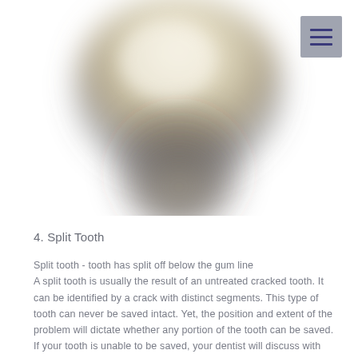[Figure (photo): Close-up blurred photograph of a tooth against a white background, showing a molar shape with cream/beige coloring fading to darker gray at the root area.]
4. Split Tooth
Split tooth - tooth has split off below the gum line
A split tooth is usually the result of an untreated cracked tooth. It can be identified by a crack with distinct segments. This type of tooth can never be saved intact. Yet, the position and extent of the problem will dictate whether any portion of the tooth can be saved. If your tooth is unable to be saved, your dentist will discuss with you the best alternative to replace your own natural tooth; a dental implant.